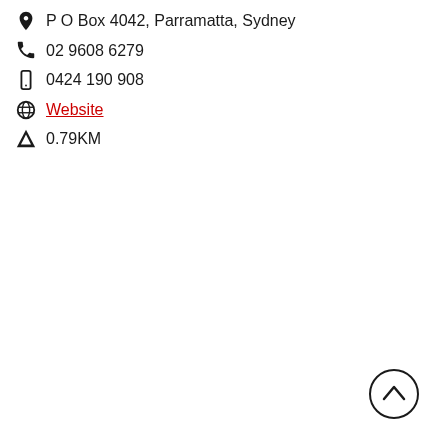P O Box 4042, Parramatta, Sydney
02 9608 6279
0424 190 908
Website
0.79KM